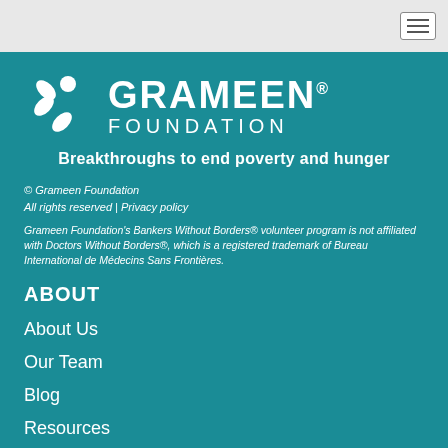[Figure (logo): Grameen Foundation logo with white circular people icon and GRAMEEN FOUNDATION text on teal background]
Breakthroughs to end poverty and hunger
© Grameen Foundation
All rights reserved | Privacy policy
Grameen Foundation's Bankers Without Borders® volunteer program is not affiliated with Doctors Without Borders®, which is a registered trademark of Bureau International de Médecins Sans Frontières.
ABOUT
About Us
Our Team
Blog
Resources